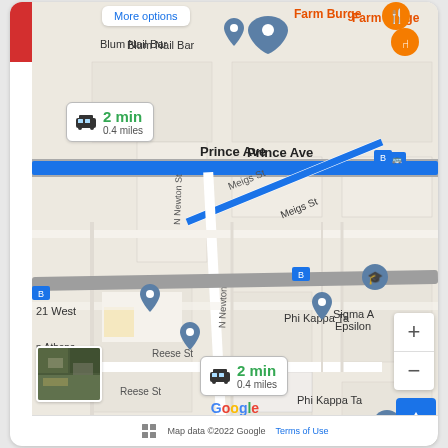[Figure (screenshot): Google Maps screenshot showing a driving route of 2 min / 0.4 miles in Athens area. Shows streets including Prince Ave, Meigs St, N Newton St, Reese St. Labels include Blum Nail Bar, Farm Burge(r), Phi Kappa Ta(u), Sigma (Alpha) Epsilon, 21 West, Athens - dent Living, church. Blue highlighted route and gray route visible. Two callout boxes show '2 min / 0.4 miles' with car icon. Bus stop icons, map pins, zoom controls (+/-), satellite thumbnail, Google logo, and 'Map data ©2022 Google  Terms of Use' footer visible. 'More options' button at top.]